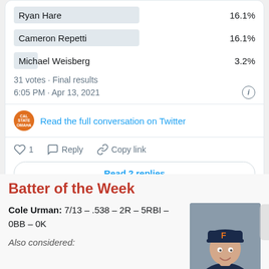Ryan Hare  16.1%
Cameron Repetti  16.1%
Michael Weisberg  3.2%
31 votes · Final results
6:05 PM · Apr 13, 2021
Read the full conversation on Twitter
1  Reply  Copy link
Read 2 replies
Batter of the Week
Cole Urman: 7/13 – .538 – 2R – 5RBI – 0BB – 0K
Also considered:
[Figure (photo): Headshot photo of a young male baseball player wearing a navy blue cap with orange 'F' letter, smiling, gray background]